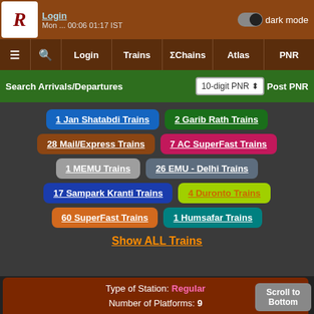Login | dark mode | Mon ... IST
≡ 🔍 Login Trains ΣChains Atlas PNR
Search Arrivals/Departures | 10-digit PNR | Post PNR
1 Jan Shatabdi Trains
2 Garib Rath Trains
28 Mail/Express Trains
7 AC SuperFast Trains
1 MEMU Trains
26 EMU - Delhi Trains
17 Sampark Kranti Trains
4 Duronto Trains
60 SuperFast Trains
1 Humsafar Trains
Show ALL Trains
Type of Station: Regular
Number of Platforms: 9
Number of Halting Trains: 79
Number of Originating Trains: 53
Number of Terminating Trains: 53